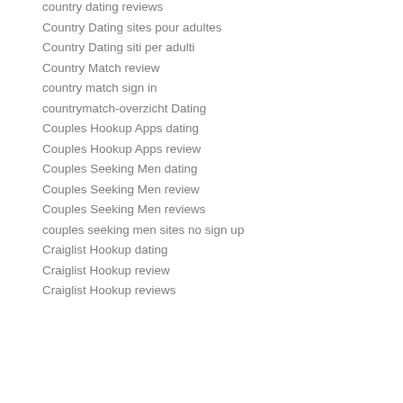country dating reviews
Country Dating sites pour adultes
Country Dating siti per adulti
Country Match review
country match sign in
countrymatch-overzicht Dating
Couples Hookup Apps dating
Couples Hookup Apps review
Couples Seeking Men dating
Couples Seeking Men review
Couples Seeking Men reviews
couples seeking men sites no sign up
Craiglist Hookup dating
Craiglist Hookup review
Craiglist Hookup reviews